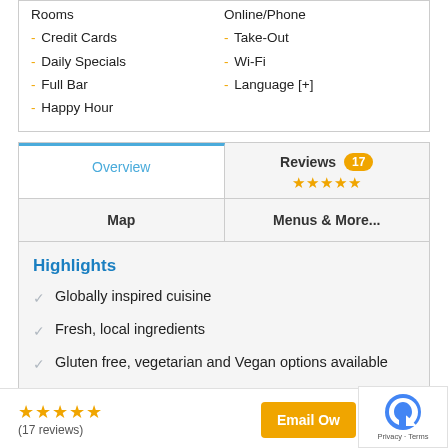Rooms
- Credit Cards
- Daily Specials
- Full Bar
- Happy Hour
Online/Phone
- Take-Out
- Wi-Fi
- Language [+]
Overview
Reviews 17 ★★★★★
Map
Menus & More...
Highlights
Globally inspired cuisine
Fresh, local ingredients
Gluten free, vegetarian and Vegan options available
★★★★★ (17 reviews)
Email Ow...